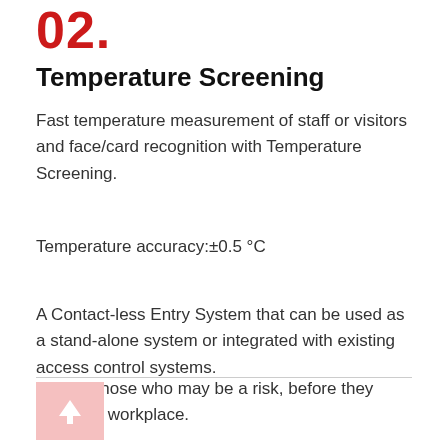02.
Temperature Screening
Fast temperature measurement of staff or visitors and face/card recognition with Temperature Screening.
Temperature accuracy:±0.5 °C
A Contact-less Entry System that can be used as a stand-alone system or integrated with existing access control systems.
Identify those who may be a risk, before they enter the workplace.
[Figure (illustration): A pink/light-red square button with an upward-pointing white arrow icon, resembling a 'back to top' navigation button.]